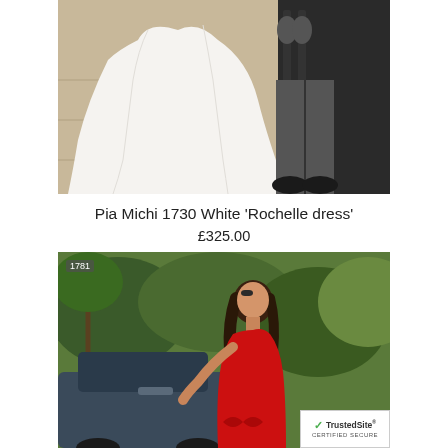[Figure (photo): Bottom portion of a white wedding dress trailing on pavement, with a person in dark suit trousers and black shoes visible to the right, in front of an ornate black iron gate.]
Pia Michi 1730 White 'Rochelle dress'
£325.00
[Figure (photo): Woman in a red backless dress standing beside a car, with lush green garden foliage in the background. Item number 1781 shown in top-left corner. TrustedSite certified secure badge in bottom-right corner.]